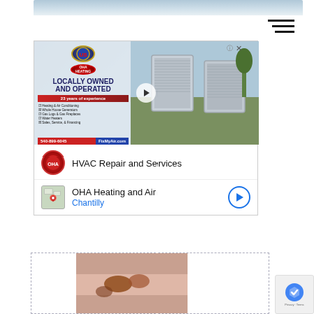[Figure (photo): Top cropped image strip showing sky/background]
[Figure (illustration): Hamburger/menu icon with three horizontal lines]
[Figure (infographic): HVAC advertisement banner with video thumbnail. Shows 'LOCALLY OWNED AND OPERATED', '23 years of experience', service checklist items including Heating & Air Conditioning, Whole House Generators, Gas Logs & Gas Fireplaces, Water Heaters, Sales, Service & Financing. Phone: 540-899-6045, website: FixMyAir.com. AC units photo on right side with play button overlay.]
HVAC Repair and Services
OHA Heating and Air
Chantilly
[Figure (photo): Partial image showing insects/bugs - appears to be a pest control advertisement with dotted border]
[Figure (logo): Google reCAPTCHA badge - Privacy + Terms]